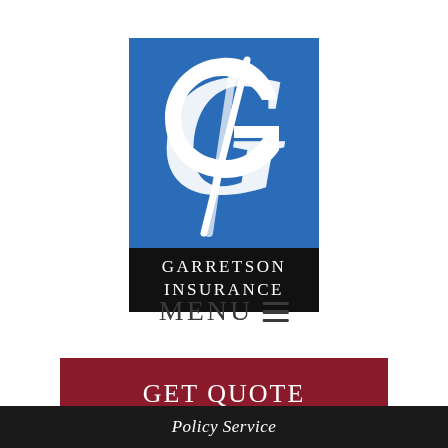[Figure (logo): Garretson Insurance logo: blue square with white stylized cursive G, below it a black rectangle with white uppercase text GARRETSON INSURANCE]
MENU ☰
GET QUOTE
Policy Service